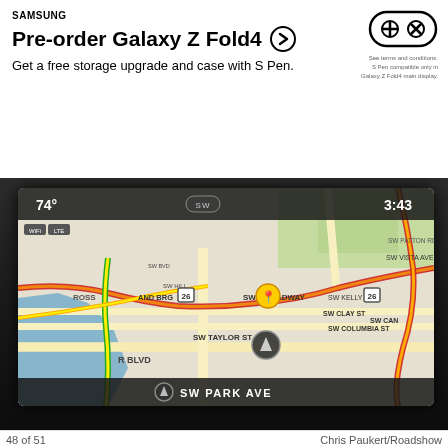[Figure (screenshot): Samsung advertisement banner for Pre-order Galaxy Z Fold4 with free storage upgrade and case with S Pen offer, including a game controller icon with plus and X buttons]
[Figure (photo): Car infotainment screen showing a navigation map of Portland, Oregon area with streets including SW Taylor St, SW Park Ave, SW Broadway, SW Columbia St, SW Clay St, SW Vista Ave, and route 26. Temperature shows 74 degrees, time shows 3:43, destination shows SW Park Ave.]
48 of 51                                                       Chris Paukert/Roadshow